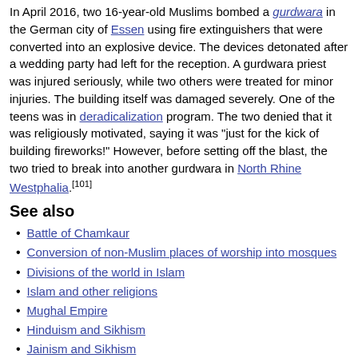In April 2016, two 16-year-old Muslims bombed a gurdwara in the German city of Essen using fire extinguishers that were converted into an explosive device. The devices detonated after a wedding party had left for the reception. A gurdwara priest was injured seriously, while two others were treated for minor injuries. The building itself was damaged severely. One of the teens was in deradicalization program. The two denied that it was religiously motivated, saying it was "just for the kick of building fireworks!" However, before setting off the blast, the two tried to break into another gurdwara in North Rhine Westphalia.[101]
See also
Battle of Chamkaur
Conversion of non-Muslim places of worship into mosques
Divisions of the world in Islam
Islam and other religions
Mughal Empire
Hinduism and Sikhism
Jainism and Sikhism
Ganga Sagar (urn)
Notes